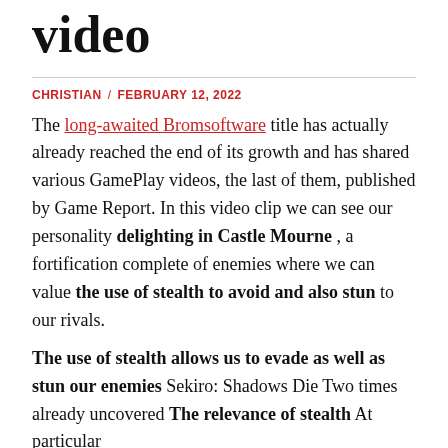video
CHRISTIAN / FEBRUARY 12, 2022
The long-awaited Bromsoftware title has actually already reached the end of its growth and has shared various GamePlay videos, the last of them, published by Game Report. In this video clip we can see our personality delighting in Castle Mourne , a fortification complete of enemies where we can value the use of stealth to avoid and also stun to our rivals.
The use of stealth allows us to evade as well as stun our enemies Sekiro: Shadows Die Two times already uncovered The relevance of stealth At particular